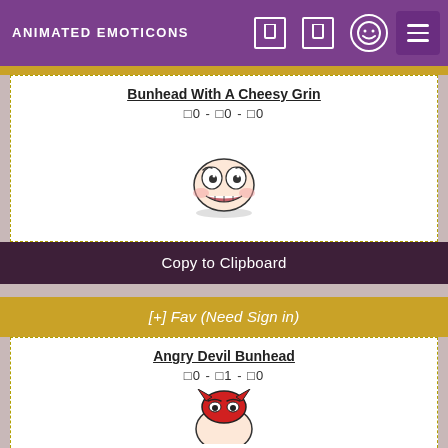ANIMATED EMOTICONS
Bunhead With A Cheesy Grin
🄼0 - 🄼0 - 🄼0
[Figure (illustration): Animated emoticon of a round bunhead face with big eyes and a wide cheesy grin]
Copy to Clipboard
[+] Fav (Need Sign in)
Angry Devil Bunhead
🄼0 - 🄼1 - 🄼0
[Figure (illustration): Animated emoticon of an angry devil bunhead with red features]